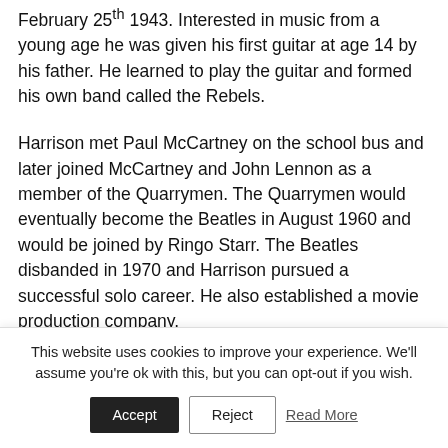February 25th 1943. Interested in music from a young age he was given his first guitar at age 14 by his father. He learned to play the guitar and formed his own band called the Rebels.
Harrison met Paul McCartney on the school bus and later joined McCartney and John Lennon as a member of the Quarrymen. The Quarrymen would eventually become the Beatles in August 1960 and would be joined by Ringo Starr. The Beatles disbanded in 1970 and Harrison pursued a successful solo career. He also established a movie production company.
This website uses cookies to improve your experience. We'll assume you're ok with this, but you can opt-out if you wish. Accept Reject Read More